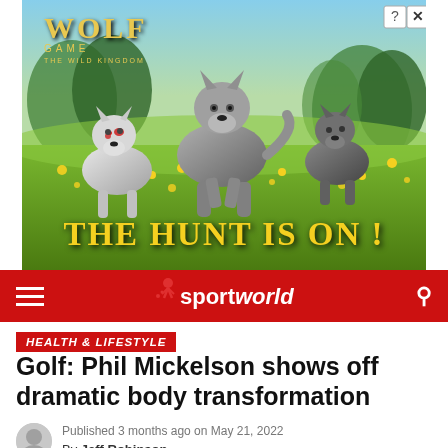[Figure (photo): Advertisement for Wolf Game: The Wild Kingdom showing three animated wolves running through a field of yellow flowers with the text 'THE HUNT IS ON!' overlaid in gold letters. Close and help buttons shown top-right.]
Sportworld navigation bar with hamburger menu, Sportworld logo, and search icon
HEALTH & LIFESTYLE
Golf: Phil Mickelson shows off dramatic body transformation
Published 3 months ago on May 21, 2022
By Jeff Robinson